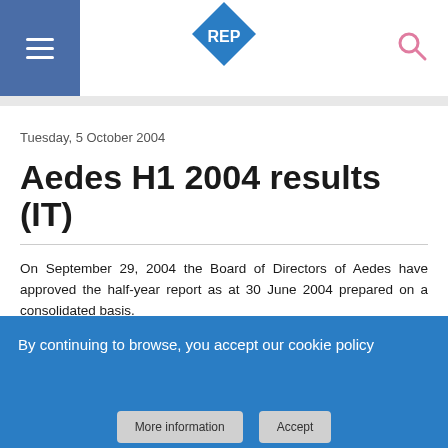REP logo navigation bar
Tuesday, 5 October 2004
Aedes H1 2004 results (IT)
On September 29, 2004 the Board of Directors of Aedes have approved the half-year report as at 30 June 2004 prepared on a consolidated basis.
The highlights are:
Value of production amounted to € 84.2 million (H1 2003: € 52.5m)
Operating income amounted to € 37.1 million (H1
By continuing to browse, you accept our cookie policy